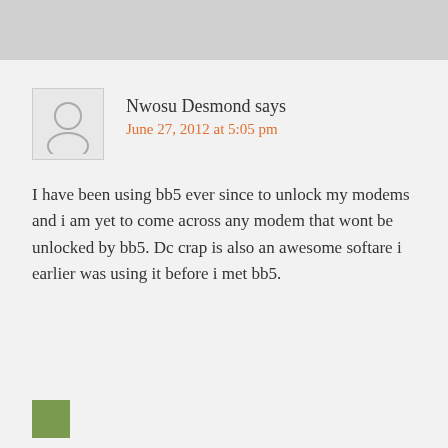Nwosu Desmond says
June 27, 2012 at 5:05 pm
I have been using bb5 ever since to unlock my modems and i am yet to come across any modem that wont be unlocked by bb5. Dc crap is also an awesome softare i earlier was using it before i met bb5.